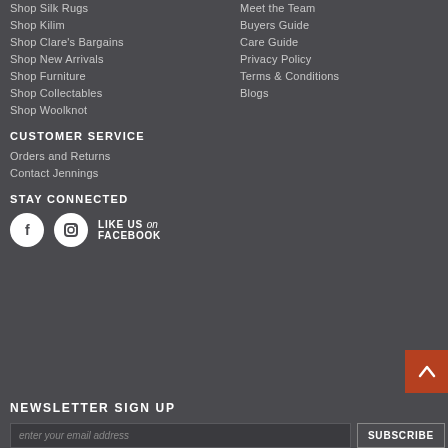Shop Silk Rugs
Shop Kilim
Shop Clare's Bargains
Shop New Arrivals
Shop Furniture
Shop Collectables
Shop Woolknot
Meet the Team
Buyers Guide
Care Guide
Privacy Policy
Terms & Conditions
Blogs
CUSTOMER SERVICE
Orders and Returns
Contact Jennings
STAY CONNECTED
LIKE US on FACEBOOK
NEWSLETTER SIGN UP
enter your email address
SUBSCRIBE